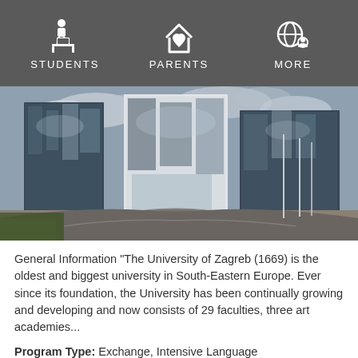STUDENTS   PARENTS   MORE
[Figure (photo): Exterior photo of modern glass university buildings with landscaped roundabout in foreground, under cloudy sky]
General Information "The University of Zagreb (1669) is the oldest and biggest university in South-Eastern Europe. Ever since its foundation, the University has been continually growing and developing and now consists of 29 faculties, three art academies...
Program Type: Exchange, Intensive Language